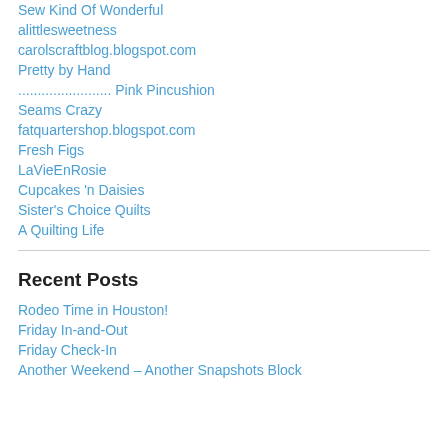Sew Kind Of Wonderful
alittlesweetness
carolscraftblog.blogspot.com
Pretty by Hand
........................ Pink Pincushion
Seams Crazy
fatquartershop.blogspot.com
Fresh Figs
LaVieEnRosie
Cupcakes 'n Daisies
Sister's Choice Quilts
A Quilting Life
Recent Posts
Rodeo Time in Houston!
Friday In-and-Out
Friday Check-In
Another Weekend – Another Snapshots Block